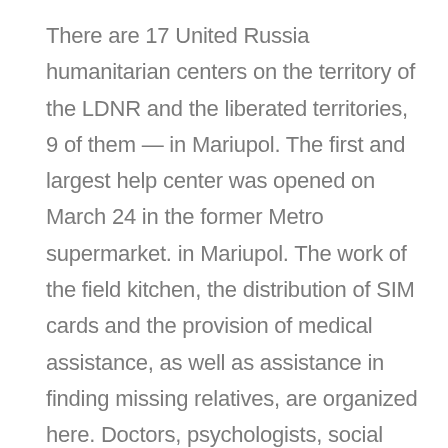There are 17 United Russia humanitarian centers on the territory of the LDNR and the liberated territories, 9 of them — in Mariupol. The first and largest help center was opened on March 24 in the former Metro supermarket. in Mariupol. The work of the field kitchen, the distribution of SIM cards and the provision of medical assistance, as well as assistance in finding missing relatives, are organized here. Doctors, psychologists, social service specialists and employment services are working so that people can get a job, a children's room and a pharmacy. The same